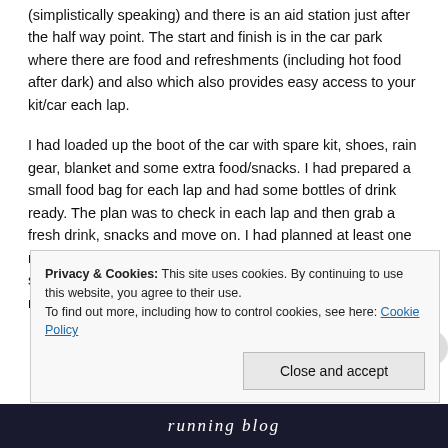(simplistically speaking) and there is an aid station just after the half way point. The start and finish is in the car park where there are food and refreshments (including hot food after dark) and also which also provides easy access to your kit/car each lap.
I had loaded up the boot of the car with spare kit, shoes, rain gear, blanket and some extra food/snacks. I had prepared a small food bag for each lap and had some bottles of drink ready. The plan was to check in each lap and then grab a fresh drink, snacks and move on. I had planned at least one major stop at the half way point to change socks and get some hot food and then grab hot drinks during the night as required.
Privacy & Cookies: This site uses cookies. By continuing to use this website, you agree to their use.
To find out more, including how to control cookies, see here: Cookie Policy
Close and accept
[Figure (screenshot): Bottom dark banner strip, partially visible, with italic text]